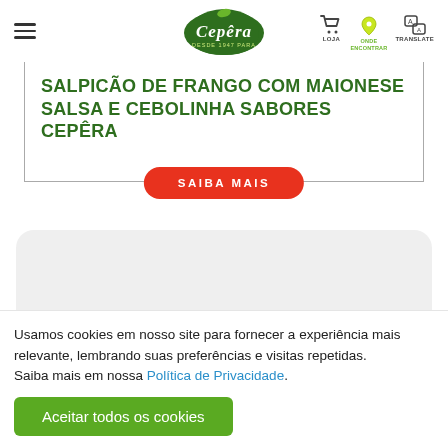Cepêra – LOJA | ONDE ENCONTRAR | TRANSLATE
SALPICÃO DE FRANGO COM MAIONESE SALSA E CEBOLINHA SABORES CEPÊRA
SAIBA MAIS
[Figure (other): Rounded card placeholder area]
Usamos cookies em nosso site para fornecer a experiência mais relevante, lembrando suas preferências e visitas repetidas.
Saiba mais em nossa Política de Privacidade.
Aceitar todos os cookies